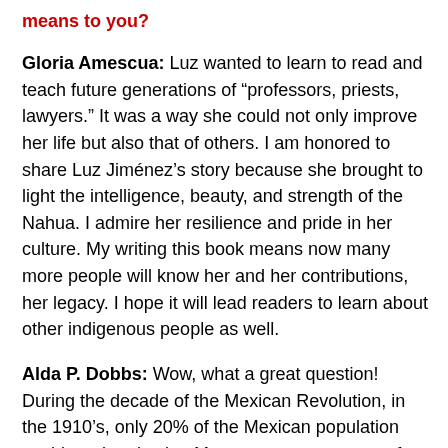means to you?
Gloria Amescua: Luz wanted to learn to read and teach future generations of “professors, priests, lawyers.” It was a way she could not only improve her life but also that of others. I am honored to share Luz Jiménez’s story because she brought to light the intelligence, beauty, and strength of the Nahua. I admire her resilience and pride in her culture. My writing this book means now many more people will know her and her contributions, her legacy. I hope it will lead readers to learn about other indigenous people as well.
Alda P. Dobbs: Wow, what a great question! During the decade of the Mexican Revolution, in the 1910’s, only 20% of the Mexican population could read and write. My ancestors were part of the 80% who were illiterate. My